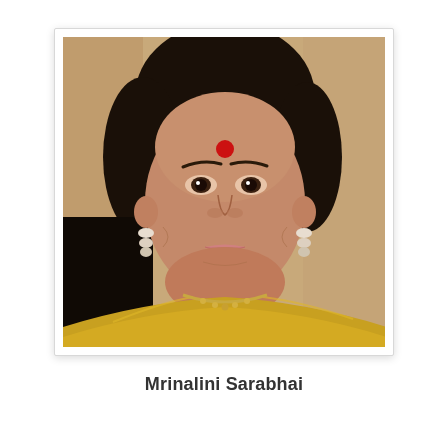[Figure (photo): Portrait photograph of Mrinalini Sarabhai, an elderly Indian woman wearing a golden/mustard yellow sari and gold necklace, with a red bindi on her forehead, pearl drop earrings, dark hair pulled back, looking directly at the camera against a warm beige background.]
Mrinalini Sarabhai